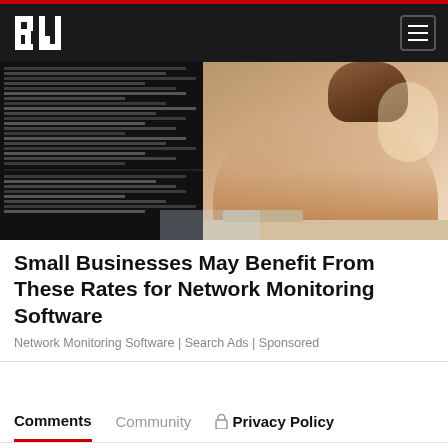BW [logo] | Navigation menu
[Figure (photo): Person working at a desk with multiple computer monitors showing data/code screens, viewed from behind, person wearing beige/tan clothing]
Small Businesses May Benefit From These Rates for Network Monitoring Software
Network Monitoring Software | Search Ads | Sponsored
Comments  Community  🔒 Privacy Policy
1  Login ▾
♡ Favorite   Sort by Best ▾